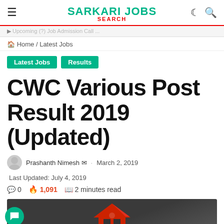SARKARI JOBS SEARCH
Home / Latest Jobs
Latest Jobs
Results
CWC Various Post Result 2019 (Updated)
Prashanth Nimesh · March 2, 2019  Last Updated: July 4, 2019
0  1,091  2 minutes read